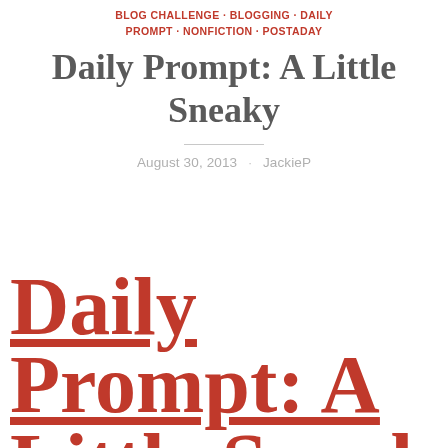BLOG CHALLENGE · BLOGGING · DAILY PROMPT · NONFICTION · POSTADAY
Daily Prompt: A Little Sneaky
August 30, 2013 · JackieP
Daily Prompt: A Little Sneak